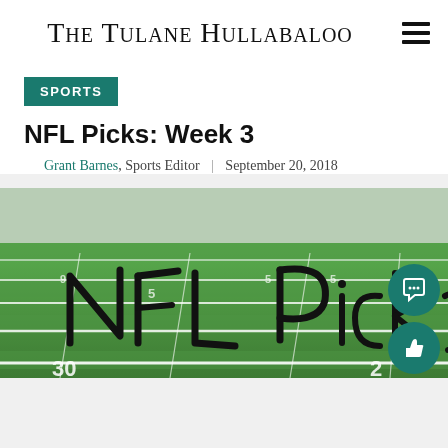The Tulane Hullabaloo
SPORTS
NFL Picks: Week 3
Grant Barnes, Sports Editor | September 20, 2018
[Figure (photo): Football field with 'NFL Picks' written in large handwritten script across the green turf, yard lines and numbers visible]